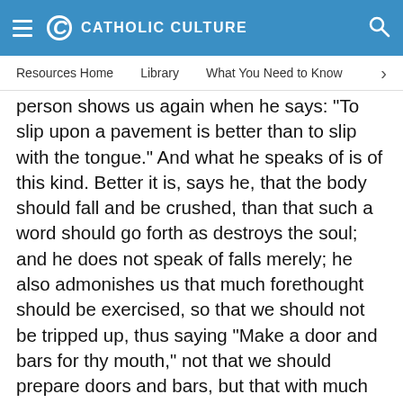CATHOLIC CULTURE
Resources Home   Library   What You Need to Know
person shows us again when he says: "To slip upon a pavement is better than to slip with the tongue." And what he speaks of is of this kind. Better it is, says he, that the body should fall and be crushed, than that such a word should go forth as destroys the soul; and he does not speak of falls merely; he also admonishes us that much forethought should be exercised, so that we should not be tripped up, thus saying "Make a door and bars for thy mouth," not that we should prepare doors and bars, but that with much security, we should shut the tongue off from outrageous words; and again in another place, after showing that we need influence from above, both as accompanying and preceding our own effort so as to keep this wild beast within: stretching forth his hands to God, the prophet said, "Let the